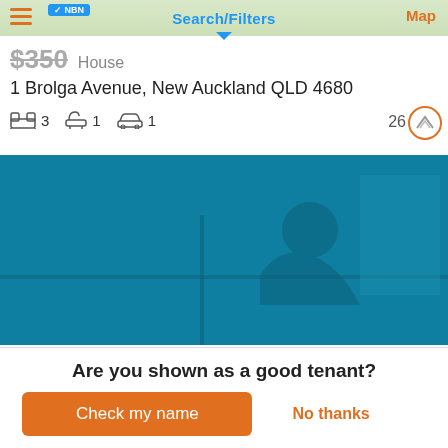Search/Filters | Map
$350  House
1 Brolga Avenue, New Auckland QLD 4680
3 bedrooms  1 bathroom  1 parking  26 views
[Figure (photo): Teal/dark-blue tinted interior photo of a person sitting in a room, used as property listing image]
Are you shown as a good tenant?
Check my name
No thanks